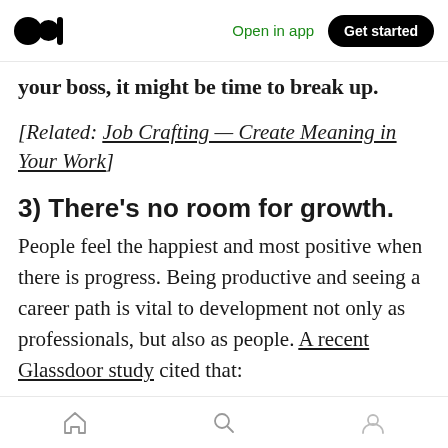Medium app navigation bar — Open in app | Get started
your boss, it might be time to break up.
[Related: Job Crafting — Create Meaning in Your Work]
3) There's no room for growth.
People feel the happiest and most positive when there is progress. Being productive and seeing a career path is vital to development not only as professionals, but also as people. A recent Glassdoor study cited that:
Every additional ten months an employee stagnates
Home | Search | Profile